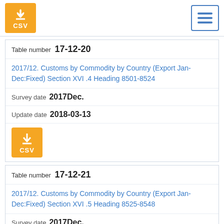[Figure (other): Orange CSV download button with download arrow icon]
[Figure (other): Blue hamburger menu button with three horizontal lines]
Table number 17-12-20
2017/12. Customs by Commodity by Country (Export Jan-Dec:Fixed) Section XVI .4 Heading 8501-8524
Survey date  2017Dec.
Update date  2018-03-13
[Figure (other): Orange CSV download button with download arrow icon]
Table number 17-12-21
2017/12. Customs by Commodity by Country (Export Jan-Dec:Fixed) Section XVI .5 Heading 8525-8548
Survey date  2017Dec.